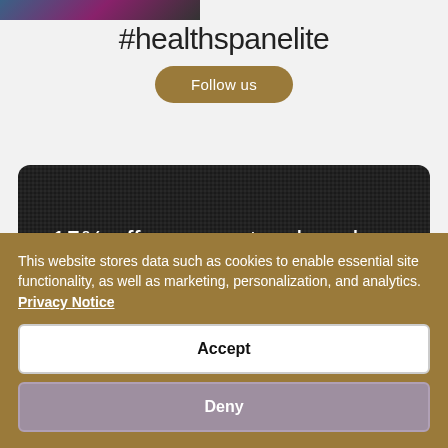[Figure (photo): Partial image strip at top left corner showing a dark textured/athletic image]
#healthspanelite
Follow us
[Figure (infographic): Dark textured black banner with white text reading: 15% off your next order when you sign up to]
This website stores data such as cookies to enable essential site functionality, as well as marketing, personalization, and analytics. Privacy Notice
Accept
Deny